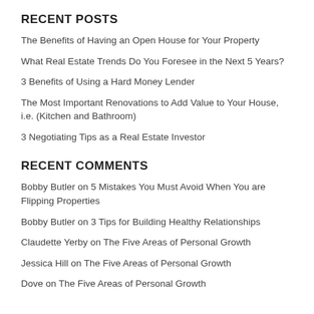RECENT POSTS
The Benefits of Having an Open House for Your Property
What Real Estate Trends Do You Foresee in the Next 5 Years?
3 Benefits of Using a Hard Money Lender
The Most Important Renovations to Add Value to Your House, i.e. (Kitchen and Bathroom)
3 Negotiating Tips as a Real Estate Investor
RECENT COMMENTS
Bobby Butler on 5 Mistakes You Must Avoid When You are Flipping Properties
Bobby Butler on 3 Tips for Building Healthy Relationships
Claudette Yerby on The Five Areas of Personal Growth
Jessica Hill on The Five Areas of Personal Growth
Dove on The Five Areas of Personal Growth